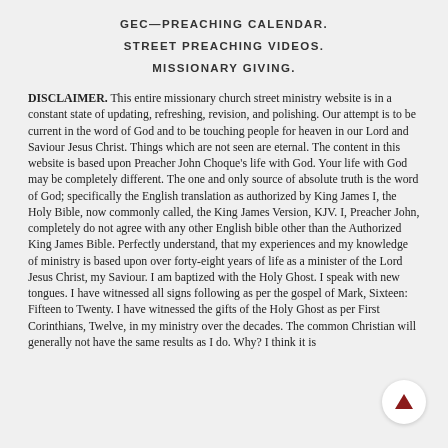GEC—PREACHING CALENDAR.
STREET PREACHING VIDEOS.
MISSIONARY GIVING.
DISCLAIMER. This entire missionary church street ministry website is in a constant state of updating, refreshing, revision, and polishing. Our attempt is to be current in the word of God and to be touching people for heaven in our Lord and Saviour Jesus Christ. Things which are not seen are eternal. The content in this website is based upon Preacher John Choque's life with God. Your life with God may be completely different. The one and only source of absolute truth is the word of God; specifically the English translation as authorized by King James I, the Holy Bible, now commonly called, the King James Version, KJV. I, Preacher John, completely do not agree with any other English bible other than the Authorized King James Bible. Perfectly understand, that my experiences and my knowledge of ministry is based upon over forty-eight years of life as a minister of the Lord Jesus Christ, my Saviour. I am baptized with the Holy Ghost. I speak with new tongues. I have witnessed all signs following as per the gospel of Mark, Sixteen: Fifteen to Twenty. I have witnessed the gifts of the Holy Ghost as per First Corinthians, Twelve, in my ministry over the decades. The common Christian will generally not have the same results as I do. Why? I think it is